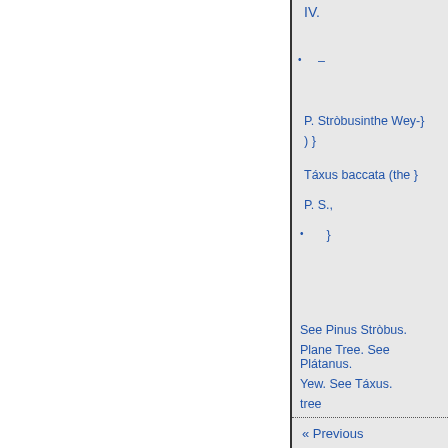IV.
–
P. Stròbusinthe Wey-}
) }
Táxus baccata (the }
P. S.,
}
See Pinus Stròbus.
Plane Tree. See Plátanus.
Yew. See Táxus.
tree
« Previous